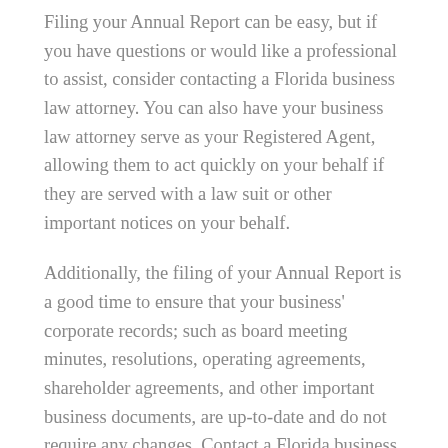Filing your Annual Report can be easy, but if you have questions or would like a professional to assist, consider contacting a Florida business law attorney. You can also have your business law attorney serve as your Registered Agent, allowing them to act quickly on your behalf if they are served with a law suit or other important notices on your behalf.
Additionally, the filing of your Annual Report is a good time to ensure that your business' corporate records; such as board meeting minutes, resolutions, operating agreements, shareholder agreements, and other important business documents, are up-to-date and do not require any changes. Contact a Florida business law attorney to assist you with understanding and updating these various